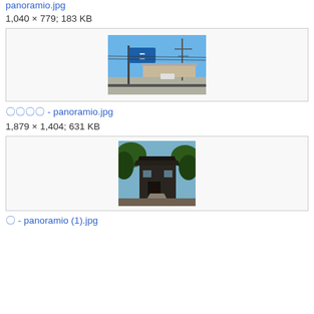panoramio.jpg
1,040 × 779; 183 KB
[Figure (photo): Street scene with a blue road sign, utility poles, and an elevated highway in Japan. Clear blue sky visible. Snow on the ground.]
〇〇〇〇 - panoramio.jpg
1,879 × 1,404; 631 KB
[Figure (photo): A traditional Japanese wooden structure or entrance gate surrounded by trees. Dark building with a pathway leading to it.]
〇 - panoramio (1).jpg